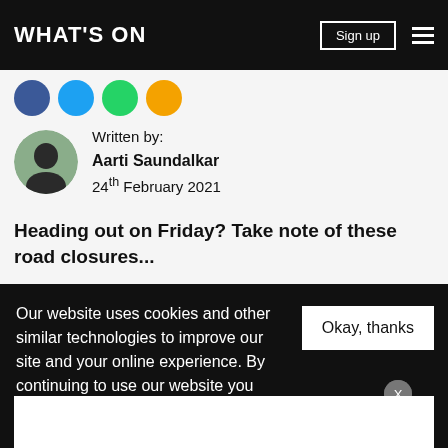WHAT'S ON
[Figure (illustration): Social media sharing icon circles: Facebook (blue), Twitter (light blue), WhatsApp (green), email/other (orange)]
Written by:
Aarti Saundalkar
24th February 2021
Heading out on Friday? Take note of these road closures...
If you’re heading out on Friday this weekend, do note that a number of roads in Dubai will be closed from 12pm to 4.30pm as Stage 6 of UAE Tour 2021 will be taking place.
Our website uses cookies and other similar technologies to improve our site and your online experience. By continuing to use our website you consent our privacy policy.